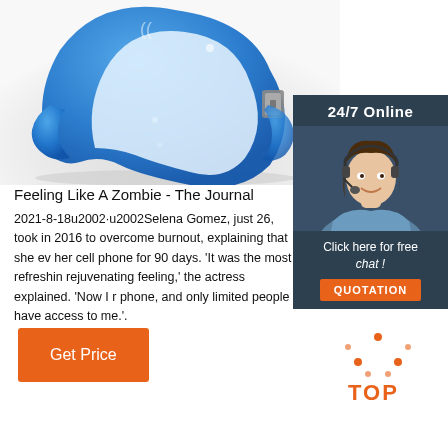[Figure (photo): Blue rubber wristband/bracelet product photo on white/grey background]
[Figure (photo): 24/7 Online chat widget with customer service agent wearing headset, blue shirt, smiling. Dark background with orange QUOTATION button.]
Feeling Like A Zombie - The Journal
2021-8-18u2002·u2002Selena Gomez, just 26, took in 2016 to overcome burnout, explaining that she ev her cell phone for 90 days. 'It was the most refreshin rejuvenating feeling,' the actress explained. 'Now I r phone, and only limited people have access to me.'.
[Figure (other): Orange 'Get Price' button]
[Figure (other): TOP arrow icon - orange dotted triangle with TOP text]